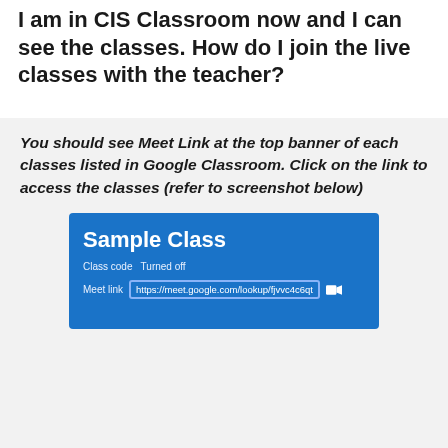I am in CIS Classroom now and I can see the classes. How do I join the live classes with the teacher?
You should see Meet Link at the top banner of each classes listed in Google Classroom. Click on the link to access the classes (refer to screenshot below)
[Figure (screenshot): Screenshot of a Google Classroom class card showing 'Sample Class' with Class code: Turned off and Meet link: https://meet.google.com/lookup/fjvvc4c6qt with a video camera icon]